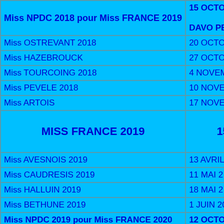| Event | Date |
| --- | --- |
| Miss NPDC 2018 pour Miss FRANCE 2019 | 15 OCTO… / DAVO PE… |
| Miss OSTREVANT 2018 | 20 OCTO… |
| Miss HAZEBROUCK | 27 OCTO… |
| Miss TOURCOING 2018 | 4 NOVEM… |
| Miss PEVELE 2018 | 10 NOVE… |
| Miss ARTOIS | 17 NOVE… |
| MISS FRANCE 2019 | 15… |
| Miss AVESNOIS 2019 | 13 AVRIL… |
| Miss CAUDRESIS 2019 | 11 MAI 2… |
| Miss HALLUIN 2019 | 18 MAI 2… |
| Miss BETHUNE 2019 | 1 JUIN 20… |
| Miss NPDC 2019 pour Miss FRANCE 2020 | 12 OCTO… |